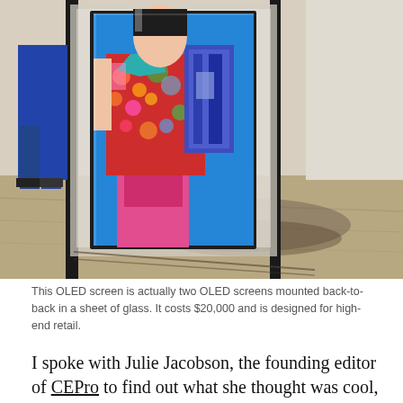[Figure (photo): An OLED display screen mounted in a glass panel showing a pop-art style colorful image of a woman in a floral outfit against a bright blue background. The display is mounted in a retail showroom environment with wooden flooring and metal poles.]
This OLED screen is actually two OLED screens mounted back-to-back in a sheet of glass. It costs $20,000 and is designed for high-end retail.
I spoke with Julie Jacobson, the founding editor of CEPro to find out what she thought was cool, met